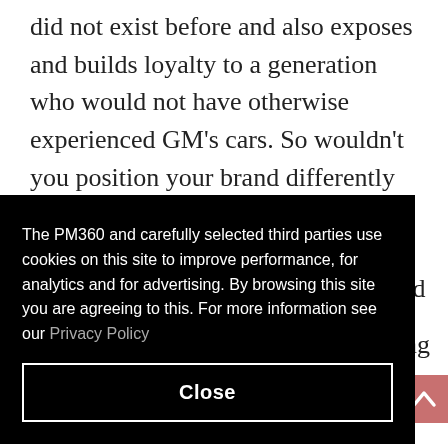did not exist before and also exposes and builds loyalty to a generation who would not have otherwise experienced GM's cars. So wouldn't you position your brand differently to someone who wanted mobility rather than
[Figure (screenshot): Cookie consent overlay on a dark black background. Text reads: 'The PM360 and carefully selected third parties use cookies on this site to improve performance, for analytics and for advertising. By browsing this site you are agreeing to this. For more information see our Privacy Policy'. A 'Close' button is displayed at the bottom of the overlay.]
fundamental practices.